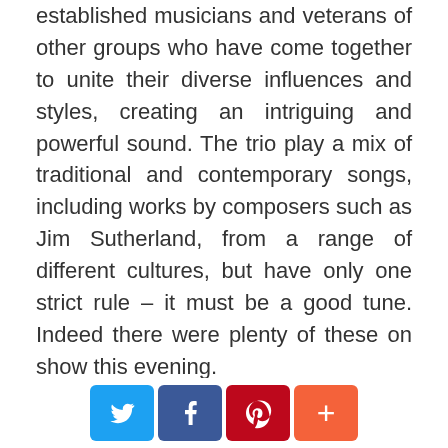established musicians and veterans of other groups who have come together to unite their diverse influences and styles, creating an intriguing and powerful sound. The trio play a mix of traditional and contemporary songs, including works by composers such as Jim Sutherland, from a range of different cultures, but have only one strict rule – it must be a good tune. Indeed there were plenty of these on show this evening.
VAMM, all three appropriately glam for the ballroom setting, began with 'The Duchess', a delicate yet intricate number that only hinted at the outstanding musicianship each would display over the course of the set. Next up was 'Castle Grant', introduced by a